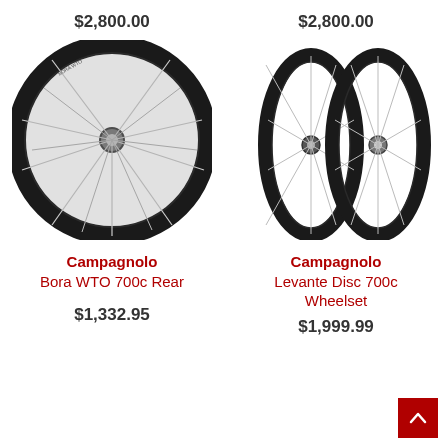$2,800.00
[Figure (photo): Campagnolo Bora WTO 700c Rear wheel – black carbon rim with silver hub and crossing spokes]
Campagnolo
Bora WTO 700c Rear
$1,332.95
$2,800.00
[Figure (photo): Campagnolo Levante Disc 700c Wheelset – two narrow black carbon wheels with disc hubs side by side]
Campagnolo
Levante Disc 700c
Wheelset
$1,999.99